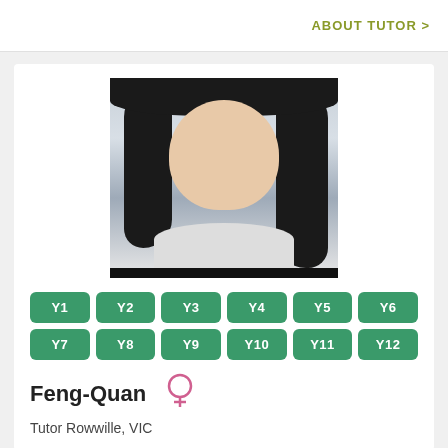ABOUT TUTOR >
[Figure (photo): Portrait photo of tutor Feng-Quan, a young Asian woman with long dark hair, gold floral earrings, wearing a light grey top, smiling slightly at the camera against a light background.]
Y1 Y2 Y3 Y4 Y5 Y6 Y7 Y8 Y9 Y10 Y11 Y12
Feng-Quan
Tutor Rowwille, VIC